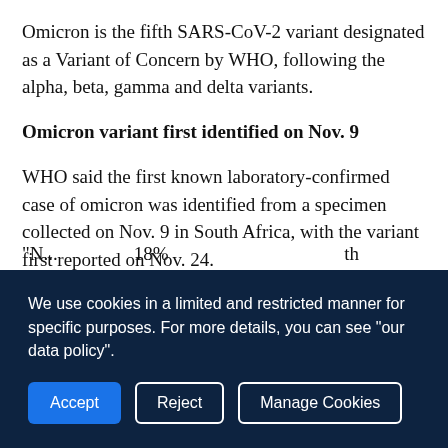Omicron is the fifth SARS-CoV-2 variant designated as a Variant of Concern by WHO, following the alpha, beta, gamma and delta variants.
Omicron variant first identified on Nov. 9
WHO said the first known laboratory-confirmed case of omicron was identified from a specimen collected on Nov. 9 in South Africa, with the variant first reported on Nov. 24.
Globally, weekly case incidence plateaued in the week of Nov. 29 to Dec. 5, with over 4 million confirmed new cases.
"N... ...d by th... ...by 18%... ...to th...
We use cookies in a limited and restricted manner for specific purposes. For more details, you can see "our data policy".